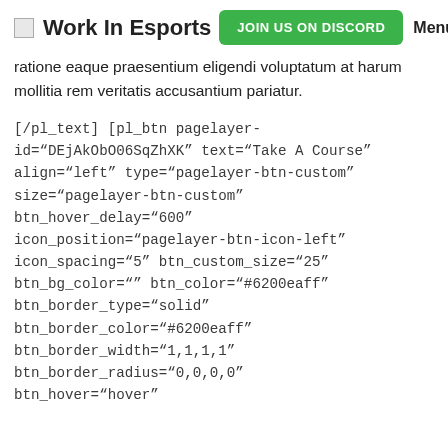Work In Esports | JOIN US ON DISCORD | Menu
ratione eaque praesentium eligendi voluptatum at harum mollitia rem veritatis accusantium pariatur.
[/pl_text] [pl_btn pagelayer-id="DEjAkObO06SqZhXK" text="Take A Course" align="left" type="pagelayer-btn-custom" size="pagelayer-btn-custom" btn_hover_delay="600" icon_position="pagelayer-btn-icon-left" icon_spacing="5" btn_custom_size="25" btn_bg_color="" btn_color="#6200eaff" btn_border_type="solid" btn_border_color="#6200eaff" btn_border_width="1,1,1,1" btn_border_radius="0,0,0,0" btn_hover="hover"